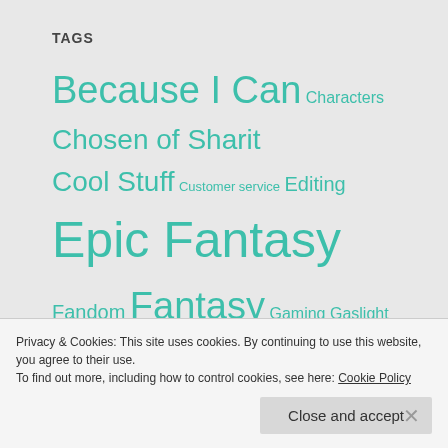TAGS
Because I Can Characters Chosen of Sharit Cool Stuff Customer service Editing Epic Fantasy Fandom Fantasy Gaming Gaslight Fantasy General General Writing Hellenistic Fantasy Historical Fantasy Music NaNoWriMo Novel Reading Review Science Fiction Soccer Speculative Fiction Steampunk Sword & Sandal The Iron
Privacy & Cookies: This site uses cookies. By continuing to use this website, you agree to their use.
To find out more, including how to control cookies, see here: Cookie Policy
Close and accept